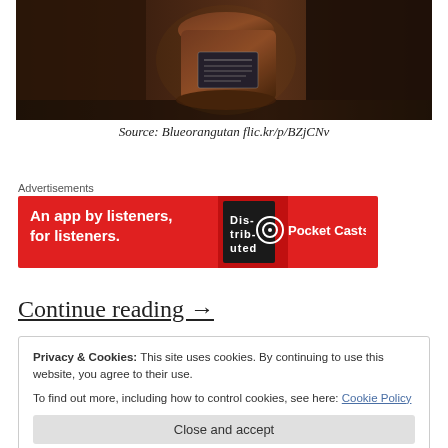[Figure (photo): A dark-toned photograph of a bottle or vase with a label/plaque, set on what appears to be a wooden shelf or surface in a dimly lit interior.]
Source: Blueorangutan flic.kr/p/BZjCNv
Advertisements
[Figure (screenshot): A red advertisement banner for Pocket Casts: 'An app by listeners, for listeners.' with a book cover image and Pocket Casts logo.]
Continue reading →
Privacy & Cookies: This site uses cookies. By continuing to use this website, you agree to their use.
To find out more, including how to control cookies, see here: Cookie Policy
Close and accept